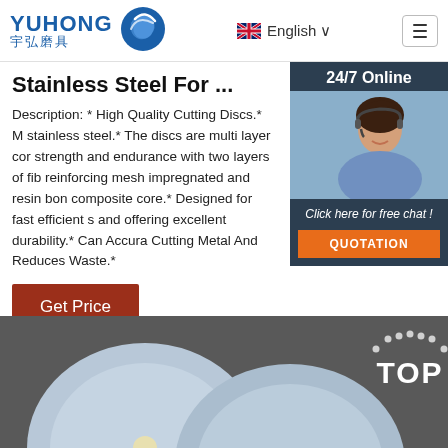YUHONG 宇弘磨具 | English | Menu
Stainless Steel For ...
Description: * High Quality Cutting Discs.* M stainless steel.* The discs are multi layer cor strength and endurance with two layers of fib reinforcing mesh impregnated and resin bon composite core.* Designed for fast efficient s and offering excellent durability.* Can Accura Cutting Metal And Reduces Waste.*
[Figure (photo): Customer service representative with headset, 24/7 Online, Click here for free chat!, QUOTATION button]
Get Price
[Figure (photo): Cutting discs on dark background with TOP badge]